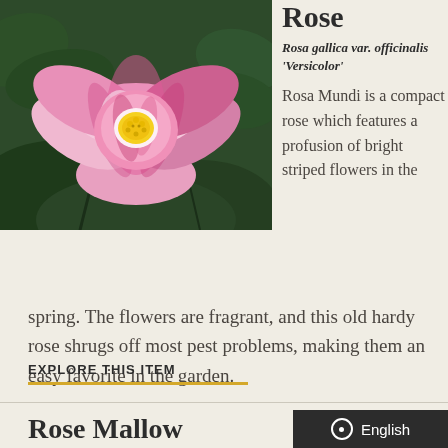[Figure (photo): Close-up photo of a Rosa Mundi (Rosa gallica var. officinalis 'Versicolor') flower with bright pink and white striped petals and yellow center, surrounded by green leaves]
Rose
Rosa gallica var. officinalis 'Versicolor'
Rosa Mundi is a compact rose which features a profusion of bright striped flowers in the spring. The flowers are fragrant, and this old hardy rose shrugs off most pest problems, making them an easy favorite in the garden.
EXPLORE THIS ITEM
Rose Mallow